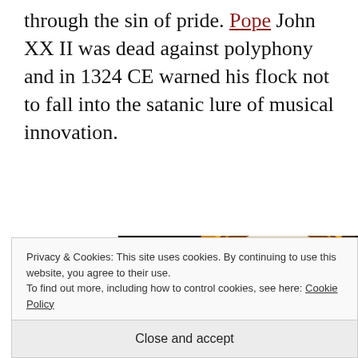through the sin of pride. Pope John XX II was dead against polyphony and in 1324 CE warned his flock not to fall into the satanic lure of musical innovation.
However, such narrow-
[Figure (photo): A circular medallion or cameo showing a profile portrait carved in white/ivory material, set in a warm brown and gold decorative frame, depicted against a dark background.]
Privacy & Cookies: This site uses cookies. By continuing to use this website, you agree to their use.
To find out more, including how to control cookies, see here: Cookie Policy
Close and accept